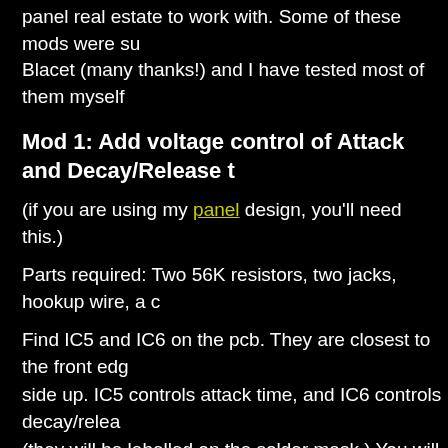panel real estate to work with. Some of these mods were su- Blacet (many thanks!) and I have tested most of them myself
Mod 1: Add voltage control of Attack and Decay/Release t
(if you are using my panel design, you'll need this.)
Parts required: Two 56K resistors, two jacks, hookup wire, a c
Find IC5 and IC6 on the pcb. They are closest to the front edg- side up. IC5 controls attack time, and IC6 controls decay/relea- (they will be labelled on the solder mask.) You will solder one e- and R57. Mount the new resistor flat directly next to it, and tac- goop. The left end of each new resistor will connect to the hot- there is to it! To use these jacks, note that the sense of the CV attack and decay/release knobs all the way up first, then apply- give longer times, higher voltages give shorter times.
This mod is unnecessary on new issue Dark Stars - John B- mention that our new run of boards (Rev A) (about 2 weeks) has on board pa- "JD" for Attack and Decay"